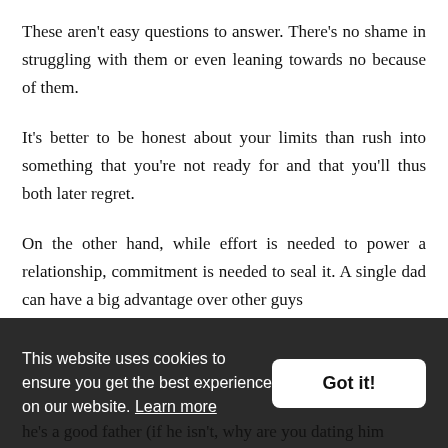These aren't easy questions to answer. There's no shame in struggling with them or even leaning towards no because of them.
It's better to be honest about your limits than rush into something that you're not ready for and that you'll thus both later regret.
On the other hand, while effort is needed to power a relationship, commitment is needed to seal it. A single dad can have a big advantage over other guys
This website uses cookies to ensure you get the best experience on our website. Learn more
he's a good father (if he isn't, why are you dating him